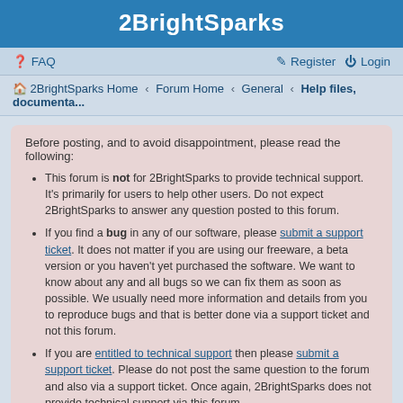2BrightSparks
FAQ   Register   Login
2BrightSparks Home › Forum Home › General › Help files, documenta...
Before posting, and to avoid disappointment, please read the following:
This forum is not for 2BrightSparks to provide technical support. It's primarily for users to help other users. Do not expect 2BrightSparks to answer any question posted to this forum.
If you find a bug in any of our software, please submit a support ticket. It does not matter if you are using our freeware, a beta version or you haven't yet purchased the software. We want to know about any and all bugs so we can fix them as soon as possible. We usually need more information and details from you to reproduce bugs and that is better done via a support ticket and not this forum.
If you are entitled to technical support then please submit a support ticket. Please do not post the same question to the forum and also via a support ticket. Once again, 2BrightSparks does not provide technical support via this forum.
Can a new topic in this forum be edited ?